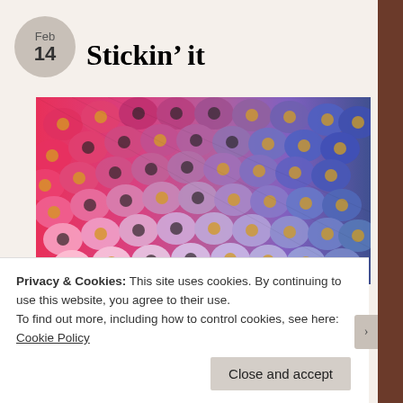Feb 14
Stickin’ it
[Figure (photo): Rows of colorful thread spools arranged diagonally, showing a gradient from bright pinks and reds on the left to purples and navy blues on the right.]
Privacy & Cookies: This site uses cookies. By continuing to use this website, you agree to their use.
To find out more, including how to control cookies, see here: Cookie Policy
Close and accept